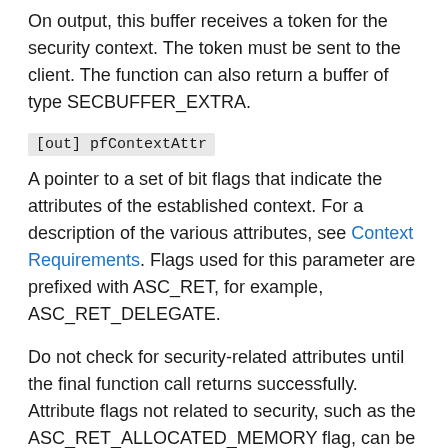On output, this buffer receives a token for the security context. The token must be sent to the client. The function can also return a buffer of type SECBUFFER_EXTRA.
[out] pfContextAttr
A pointer to a set of bit flags that indicate the attributes of the established context. For a description of the various attributes, see Context Requirements. Flags used for this parameter are prefixed with ASC_RET, for example, ASC_RET_DELEGATE.
Do not check for security-related attributes until the final function call returns successfully. Attribute flags not related to security, such as the ASC_RET_ALLOCATED_MEMORY flag, can be checked before the final return.
[out, optional] ptsExpiry